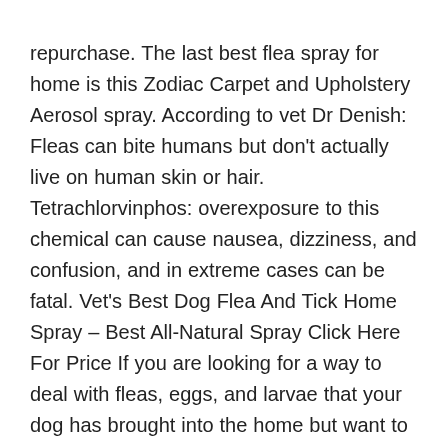repurchase. The last best flea spray for home is this Zodiac Carpet and Upholstery Aerosol spray. According to vet Dr Denish: Fleas can bite humans but don't actually live on human skin or hair. Tetrachlorvinphos: overexposure to this chemical can cause nausea, dizziness, and confusion, and in extreme cases can be fatal. Vet's Best Dog Flea And Tick Home Spray – Best All-Natural Spray Click Here For Price If you are looking for a way to deal with fleas, eggs, and larvae that your dog has brought into the home but want to avoid all the nasty chemicals, then try this all-natural solution from Vet's Best. I've sprayed some on a rag and rubbed it into the fur on the back of my cat's neck twice. In order to manage fleas effectively, carpets, upholstery, and pet bedding should be treated for fleas as well to kill eggs and larvae and stop the cycle of infection. This formula uses all-natural plant-based ingredients including peppermint oil and clove extract to kill fleas, their eggs, and ticks on contact. These generally only stay in your dogâs bloodstream for about 24 hours and need to